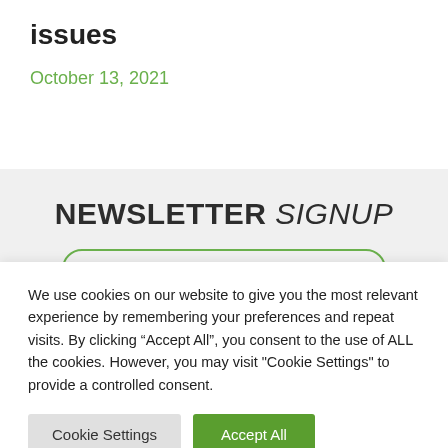issues
October 13, 2021
NEWSLETTER SIGNUP
We use cookies on our website to give you the most relevant experience by remembering your preferences and repeat visits. By clicking “Accept All”, you consent to the use of ALL the cookies. However, you may visit "Cookie Settings" to provide a controlled consent.
Cookie Settings | Accept All